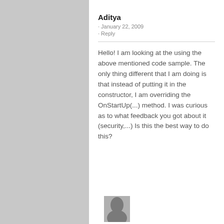Aditya
· January 22, 2009
· Reply
Hello! I am looking at the using the above mentioned code sample. The only thing different that I am doing is that instead of putting it in the constructor, I am overriding the OnStartUp(...) method. I was curious as to what feedback you got about it (security,...) Is this the best way to do this?
[Figure (photo): Partial photo of a person's face/head at the bottom of the page]